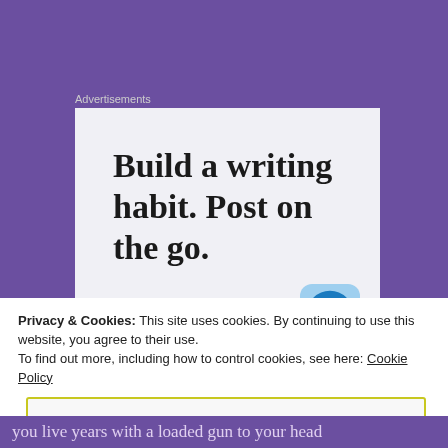Advertisements
[Figure (screenshot): WordPress advertisement: 'Build a writing habit. Post on the go.' with GET THE APP call to action and WordPress logo]
Privacy & Cookies: This site uses cookies. By continuing to use this website, you agree to their use.
To find out more, including how to control cookies, see here: Cookie Policy
Close and accept
you live years with a loaded gun to your head